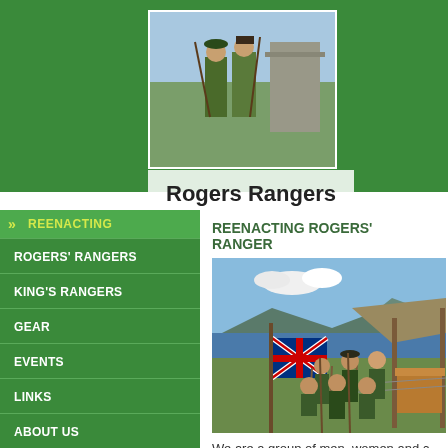[Figure (photo): Two people in period ranger costumes standing outdoors near a stone structure]
Rogers Rangers
REENACTING
ROGERS' RANGERS
KING'S RANGERS
GEAR
EVENTS
LINKS
ABOUT US
CONTACT US / JOIN
REENACTING ROGERS' RANGERS
[Figure (photo): Group of reenactors in green ranger uniforms posing with British flag and muskets near a lake]
We are a group of men, women and c